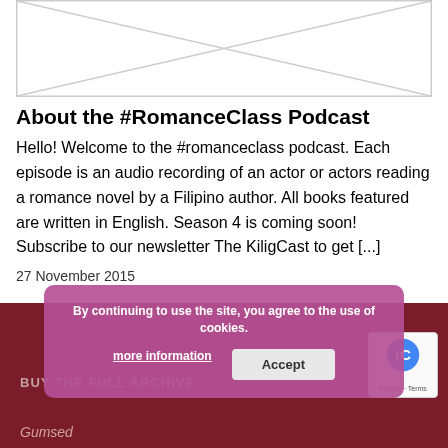[Figure (other): Image placeholder with diagonal lines indicating a missing or loading image]
About the #RomanceClass Podcast
Hello! Welcome to the #romanceclass podcast. Each episode is an audio recording of an actor or actors reading a romance novel by a Filipino author. All books featured are written in English. Season 4 is coming soon! Subscribe to our newsletter The KiligCast to get [...]
27 November 2015
BUY THE FULL ARCHIVE
By continuing to use the site, you agree to the use of cookies. more information Accept
Gumsed